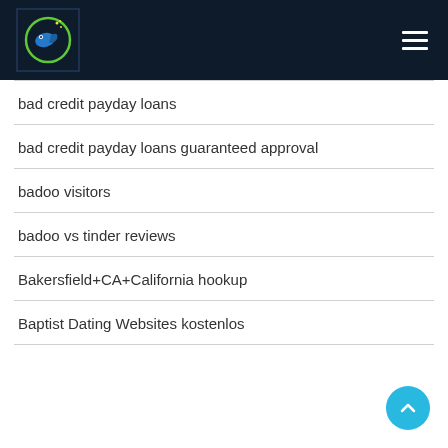[Figure (logo): Website logo: circular icon with bird/fish silhouette in blue and green on dark background]
bad credit payday loans
bad credit payday loans guaranteed approval
badoo visitors
badoo vs tinder reviews
Bakersfield+CA+California hookup
Baptist Dating Websites kostenlos